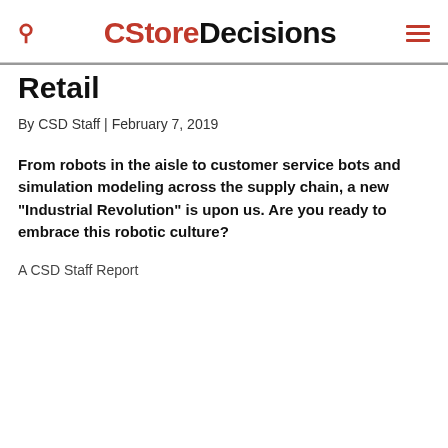CStoreDecisions
Retail
By CSD Staff | February 7, 2019
From robots in the aisle to customer service bots and simulation modeling across the supply chain, a new “Industrial Revolution” is upon us. Are you ready to embrace this robotic culture?
A CSD Staff Report